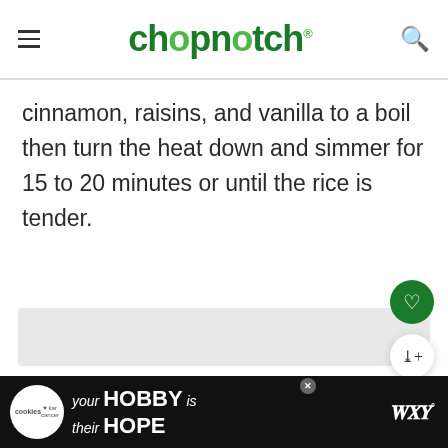chopnotch® [website header with hamburger menu and search icon]
cinnamon, raisins, and vanilla to a boil then turn the heat down and simmer for 15 to 20 minutes or until the rice is tender.
[Figure (screenshot): Gray placeholder rectangle for an image or advertisement]
[Figure (photo): Bottom ad bar with cookies logo and text: your HOBBY is their HOPE]